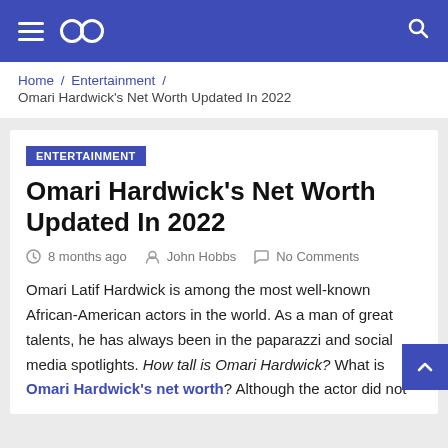Navigation header with hamburger menu, logo, and search icon
Home / Entertainment / Omari Hardwick's Net Worth Updated In 2022
ENTERTAINMENT
Omari Hardwick's Net Worth Updated In 2022
8 months ago  John Hobbs  No Comments
Omari Latif Hardwick is among the most well-known African-American actors in the world. As a man of great talents, he has always been in the paparazzi and social media spotlights. How tall is Omari Hardwick? What is Omari Hardwick's net worth? Although the actor did not